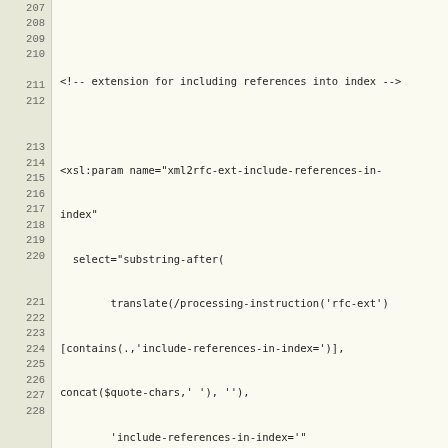Code listing lines 207-233, XSL parameter declarations for xml2rfc extensions including include-references-in-index, authors-section, justification, and trailing dots in section numbers.